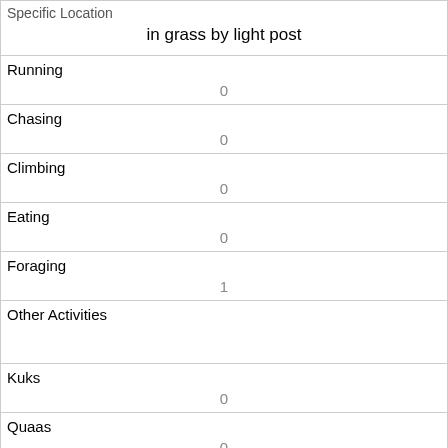| Specific Location | Running | Chasing | Climbing | Eating | Foraging | Other Activities | Kuks | Quaas | Moans | Tail flags |
| --- | --- | --- | --- | --- | --- | --- | --- | --- | --- | --- |
| in grass by light post | 0 | 0 | 0 | 0 | 1 |  | 0 | 0 | 0 |  |